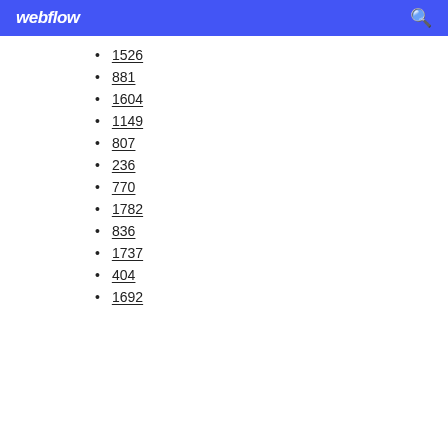webflow
1526
881
1604
1149
807
236
770
1782
836
1737
404
1692